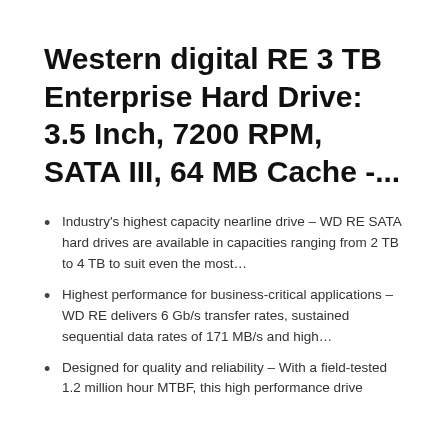Western digital RE 3 TB Enterprise Hard Drive: 3.5 Inch, 7200 RPM, SATA III, 64 MB Cache -...
Industry's highest capacity nearline drive – WD RE SATA hard drives are available in capacities ranging from 2 TB to 4 TB to suit even the most…
Highest performance for business-critical applications – WD RE delivers 6 Gb/s transfer rates, sustained sequential data rates of 171 MB/s and high…
Designed for quality and reliability – With a field-tested 1.2 million hour MTBF, this high performance drive